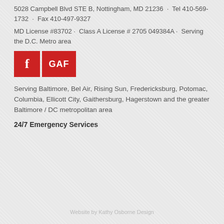5028 Campbell Blvd STE B, Nottingham, MD 21236 · Tel 410-569-1732 · Fax 410-497-9327
MD License #83702 · Class A License # 2705 049384A · Serving the D.C. Metro area
[Figure (logo): Two red square icons: Facebook 'f' logo and GAF logo]
Serving Baltimore, Bel Air, Rising Sun, Fredericksburg, Potomac, Columbia, Ellicott City, Gaithersburg, Hagerstown and the greater Baltimore / DC metropolitan area
24/7 Emergency Services
Website by Kathy Osborne Design